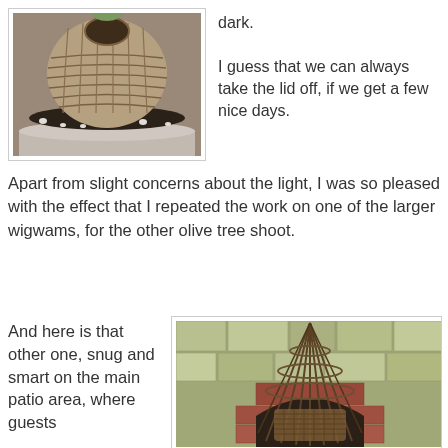[Figure (photo): A woven willow/wicker dome/basket structure placed in a large white pot with dark soil and small white pebbles.]
dark.

I guess that we can always take the lid off, if we get a few nice days.
Apart from slight concerns about the light, I was so pleased with the effect that I repeated the work on one of the larger wigwams, for the other olive tree shoot.
And here is that other one, snug and smart on the main patio area, where guests
[Figure (photo): A tall woven willow wigwam structure standing against a stone and brick wall background.]